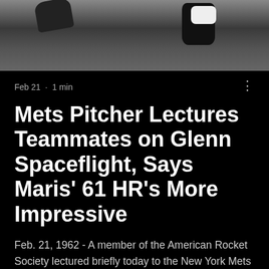[Figure (photo): Black and white photo showing feet/shoes on grass from above, partially cropped]
Feb 21 · 1 min
Mets Pitcher Lectures Teammates on Glenn Spaceflight, Says Maris' 61 HR's More Impressive
Feb. 21, 1962 - A member of the American Rocket Society lectured briefly today to the New York Mets on propulsion, life on other planets, and the problems of re-entry. Then he went out and pitched batting pra... The thinking man's pitcher was Ja...